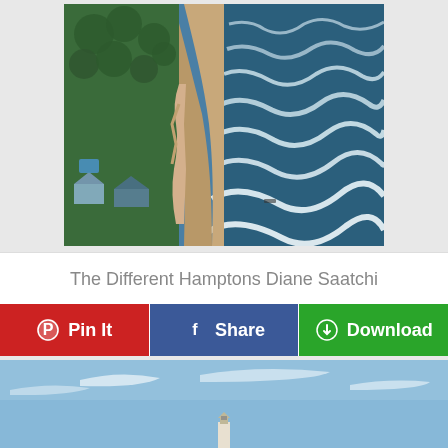[Figure (photo): Aerial view of Hamptons beach coastline with ocean waves, sand dunes, and vegetation]
The Different Hamptons Diane Saatchi
Pin It
Share
Download
[Figure (photo): Blue sky with lighthouse partially visible at bottom of frame]